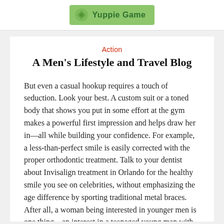Yuppie Game
Action
A Men's Lifestyle and Travel Blog
But even a casual hookup requires a touch of seduction. Look your best. A custom suit or a toned body that shows you put in some effort at the gym makes a powerful first impression and helps draw her in—all while building your confidence. For example, a less-than-perfect smile is easily corrected with the proper orthodontic treatment. Talk to your dentist about Invisalign treatment in Orlando for the healthy smile you see on celebrities, without emphasizing the age difference by sporting traditional metal braces. After all, a woman being interested in younger men is one thing—an interest in a teenaged young man with metal braces is something else entirely. Take care of yourself. You floss regularly to maintain your Invisalign smile cause